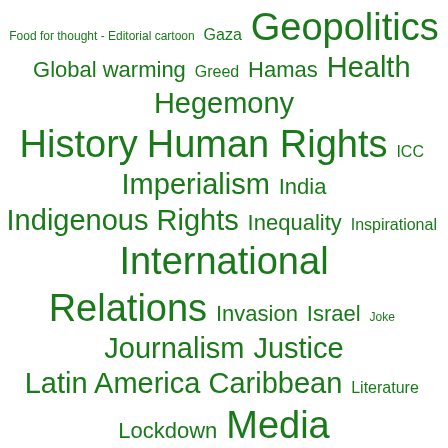[Figure (other): Tag cloud / word cloud with geopolitical, social, and international relations topics in varying font sizes, all in green on white background.]